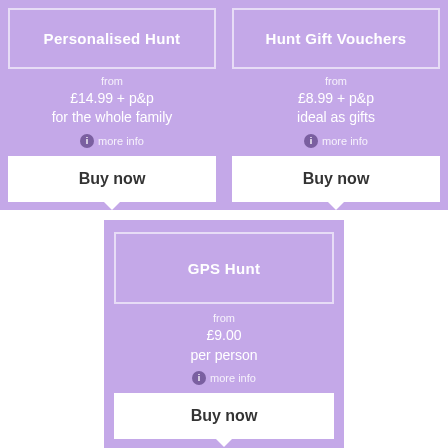Personalised Hunt
from
£14.99 + p&p
for the whole family
more info
Buy now
Hunt Gift Vouchers
from
£8.99 + p&p
ideal as gifts
more info
Buy now
GPS Hunt
from
£9.00
per person
more info
Buy now